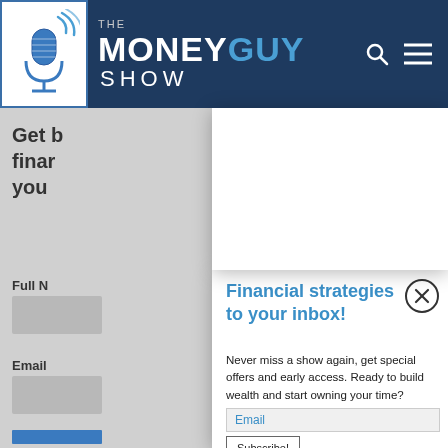THE MONEY GUY SHOW
Financial strategies to your inbox!
Never miss a show again, get special offers and early access. Ready to build wealth and start owning your time?
Email
Subscribe!
Get [best] financial [strategies for] your [life]
Full N[ame]
Email